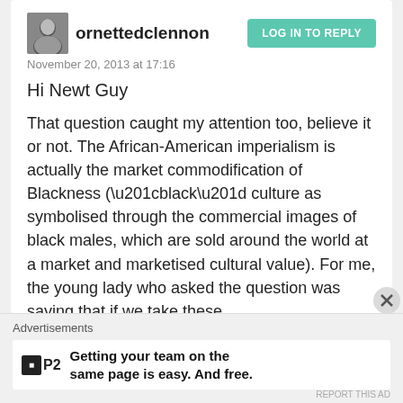ornettedclennon | November 20, 2013 at 17:16
Hi Newt Guy
That question caught my attention too, believe it or not. The African-American imperialism is actually the market commodification of Blackness (“black” culture as symbolised through the commercial images of black males, which are sold around the world at a market and marketised cultural value). For me, the young lady who asked the question was saying that if we take these “commercial” or global representations of “blackness” as actually
Advertisements
Getting your team on the same page is easy. And free.